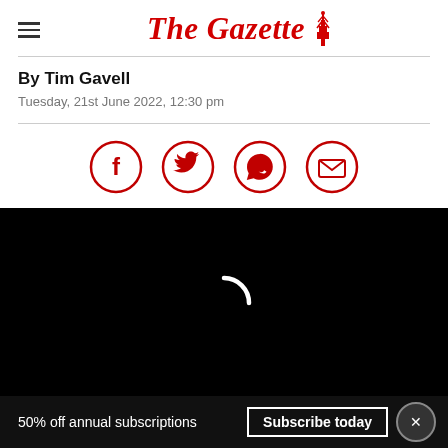The Gazette
By Tim Gavell
Tuesday, 21st June 2022, 12:30 pm
[Figure (infographic): Social sharing icons: Facebook, Twitter, WhatsApp, Email — all red circle outlines with red icons inside]
[Figure (screenshot): Video player with black background and white loading spinner]
50% off annual subscriptions  Subscribe today  ×